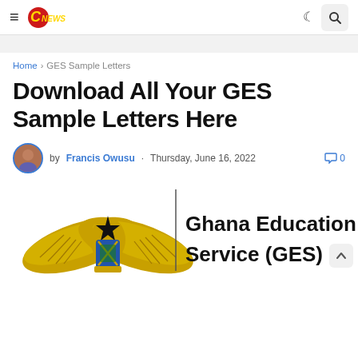≡ CNews [logo] ☽ 🔍
Home › GES Sample Letters
Download All Your GES Sample Letters Here
by Francis Owusu · Thursday, June 16, 2022   💬 0
[Figure (logo): Ghana Education Service (GES) official logo — a coat of arms with golden eagle wings, black star, green shield with crossed implements, and blue background, next to the text 'Ghana Education Service (GES)']